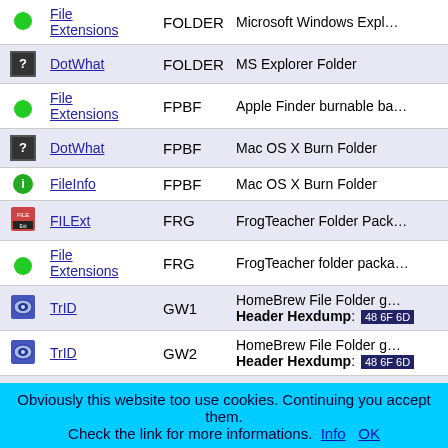| Icon | Source | Extension | Description |
| --- | --- | --- | --- |
| File Extensions icon | File Extensions | FOLDER | Microsoft Windows Expl... |
| DotWhat icon | DotWhat | FOLDER | MS Explorer Folder |
| File Extensions icon | File Extensions | FPBF | Apple Finder burnable ba... |
| DotWhat icon | DotWhat | FPBF | Mac OS X Burn Folder |
| FileInfo icon | FileInfo | FPBF | Mac OS X Burn Folder |
| FILExt icon | FILExt | FRG | FrogTeacher Folder Pack... |
| File Extensions icon | File Extensions | FRG | FrogTeacher folder packa... |
| TrID icon | TrID | GW1 | HomeBrew File Folder g... Header Hexdump: 48 6F 6D |
| TrID icon | TrID | GW2 | HomeBrew File Folder g... Header Hexdump: 48 6F 6D |
| TrID icon | TrID | GW3 | HomeBrew File Folder g... Header Hexdump: 48 6F 6D |
Obviously this website too use cookies. Continuing you accept them. Check the link for more informations. Info  OK